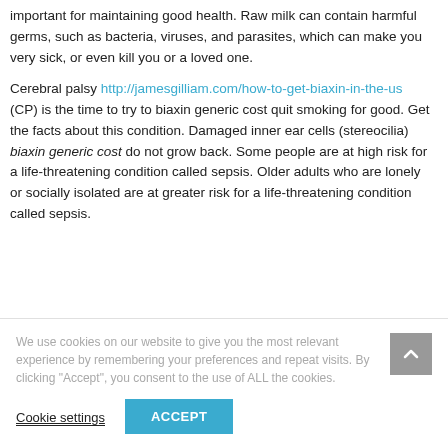important for maintaining good health. Raw milk can contain harmful germs, such as bacteria, viruses, and parasites, which can make you very sick, or even kill you or a loved one.
Cerebral palsy http://jamesgilliam.com/how-to-get-biaxin-in-the-us (CP) is the time to try to biaxin generic cost quit smoking for good. Get the facts about this condition. Damaged inner ear cells (stereocilia) biaxin generic cost do not grow back. Some people are at high risk for a life-threatening condition called sepsis. Older adults who are lonely or socially isolated are at greater risk for a life-threatening condition called sepsis.
We use cookies on our website to give you the most relevant experience by remembering your preferences and repeat visits. By clicking "Accept", you consent to the use of ALL the cookies.
Cookie settings
ACCEPT